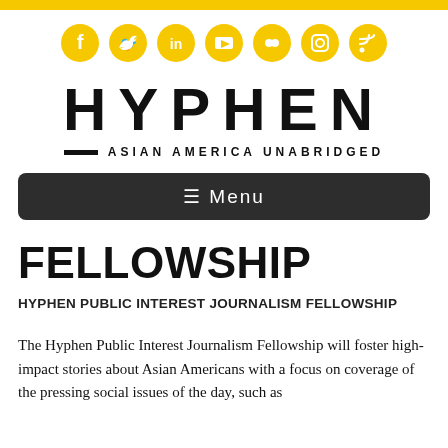[Figure (infographic): Yellow top bar and row of 7 yellow social media icon circles (Facebook, Twitter, LinkedIn, YouTube, Vimeo, Instagram, RSS)]
HYPHEN
ASIAN AMERICA UNABRIDGED
[Figure (other): Dark rounded menu bar with hamburger icon and Menu text]
FELLOWSHIP
HYPHEN PUBLIC INTEREST JOURNALISM FELLOWSHIP
The Hyphen Public Interest Journalism Fellowship will foster high-impact stories about Asian Americans with a focus on coverage of the pressing social issues of the day, such as